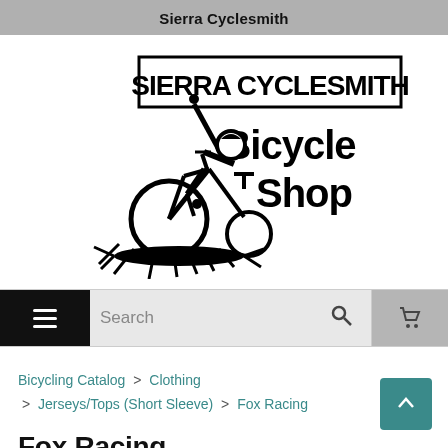Sierra Cyclesmith
[Figure (logo): Sierra Cyclesmith Bicycle Shop logo — black and white illustration of a cyclist doing a wheelie on a mountain bike with bold blocky text 'SIERRA CYCLESMITH' at top and 'Bicycle Shop' below]
≡  Search 🔍  🛒
Bicycling Catalog > Clothing > Jerseys/Tops (Short Sleeve) > Fox Racing
Fox Racing